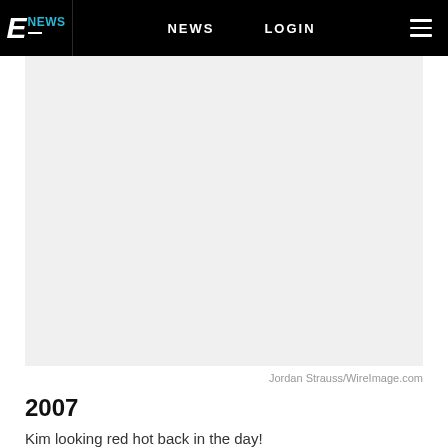E NEWS  NEWS  LOGIN
[Figure (photo): Large image placeholder area with light gray background, representing a celebrity photo]
Jordan Strauss/WireImage.com
2007
Kim looking red hot back in the day!